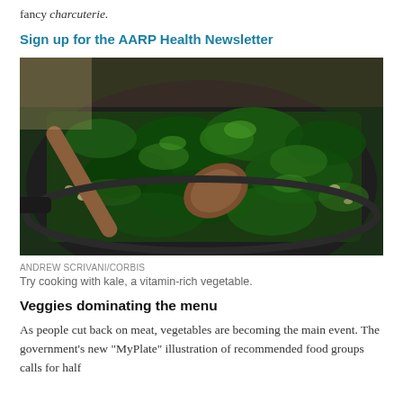fancy charcuterie.
Sign up for the AARP Health Newsletter
[Figure (photo): Kale being cooked in a dark skillet with a wooden spoon, sautéed with garlic]
ANDREW SCRIVANI/CORBIS
Try cooking with kale, a vitamin-rich vegetable.
Veggies dominating the menu
As people cut back on meat, vegetables are becoming the main event. The government's new "MyPlate" illustration of recommended food groups calls for half